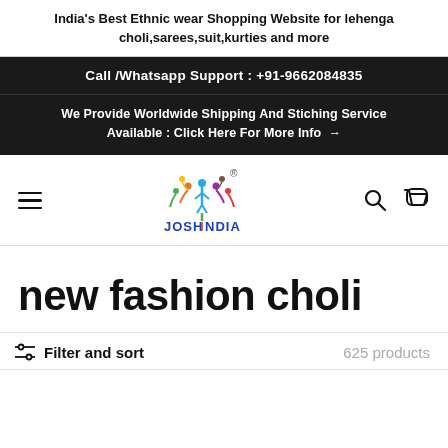India's Best Ethnic wear Shopping Website for lehenga choli,sarees,suit,kurties and more
Call /Whatsapp Support : +91-9662084835
We Provide Worldwide Shipping And Stiching Service Available : Click Here For More Info →
[Figure (logo): Josh India colorful tree logo with people figures and JOSH INDIA text]
new fashion choli
Filter and sort   625 products